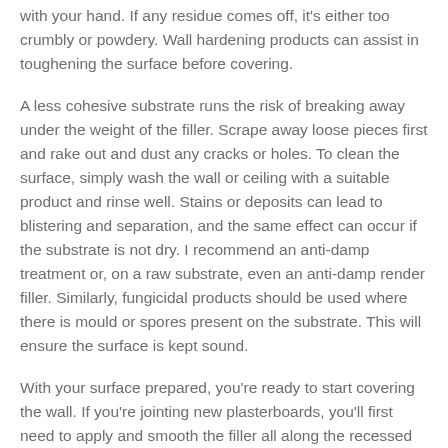with your hand. If any residue comes off, it's either too crumbly or powdery. Wall hardening products can assist in toughening the surface before covering.
A less cohesive substrate runs the risk of breaking away under the weight of the filler. Scrape away loose pieces first and rake out and dust any cracks or holes. To clean the surface, simply wash the wall or ceiling with a suitable product and rinse well. Stains or deposits can lead to blistering and separation, and the same effect can occur if the substrate is not dry. I recommend an anti-damp treatment or, on a raw substrate, even an anti-damp render filler. Similarly, fungicidal products should be used where there is mould or spores present on the substrate. This will ensure the surface is kept sound.
With your surface prepared, you're ready to start covering the wall. If you're jointing new plasterboards, you'll first need to apply and smooth the filler all along the recessed edges between the boards. With a filling knife, use plenty of filler to the cavity and do so gradually, applying from several directions so as not to create any air pockets. Then smooth in much the same way. Take your jointing tape, measure the